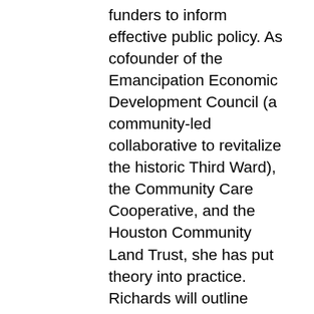funders to inform effective public policy. As cofounder of the Emancipation Economic Development Council (a community-led collaborative to revitalize the historic Third Ward), the Community Care Cooperative, and the Houston Community Land Trust, she has put theory into practice. Richards will outline barriers to land ownership, redistricting and gerrymandering, redlining, and the remedies to these injustices with a focus on Houston practices.
Assata Richards earned her Ph.D. in sociology from Pennsylvania State